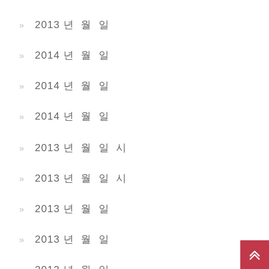2014 년 월 일
2014 년 월 일
2014 년 월 일
2013 년 월 일 시
2013 년 월 일 시
2013 년 월 일
2013 년 월 일
2013 년 월 일
2013 년 월 일
2013 년 월 일